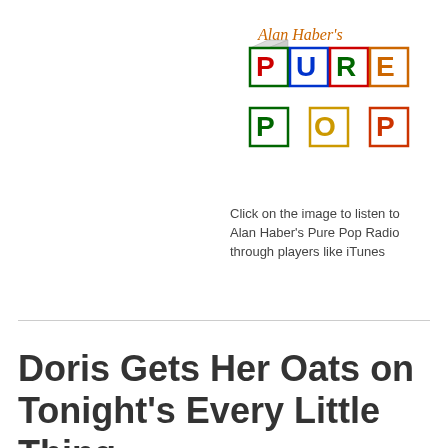[Figure (logo): Alan Haber's Pure Pop Radio logo — colorful toy blocks spelling PURE POP with handwritten script 'Alan Haber's' above]
Click on the image to listen to Alan Haber's Pure Pop Radio through players like iTunes
Doris Gets Her Oats on Tonight's Every Little Thing